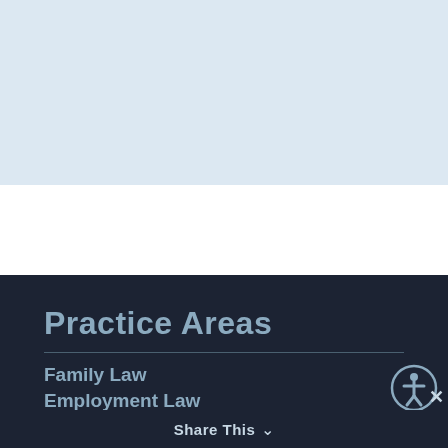[Figure (other): Light blue banner background at top of page]
Practice Areas
Family Law
Employment Law
Civil Law
Criminal Law
Probate Law
Immigration Law
Share This ∨